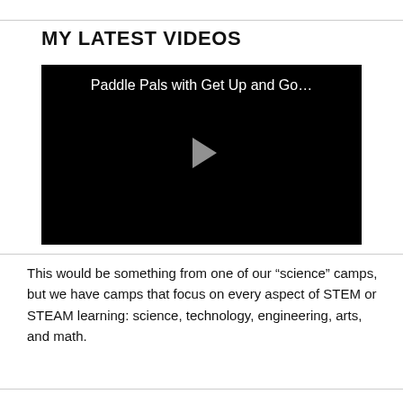MY LATEST VIDEOS
[Figure (screenshot): Video thumbnail with black background showing title 'Paddle Pals with Get Up and Go...' and a play button in the center]
This would be something from one of our “science” camps, but we have camps that focus on every aspect of STEM or STEAM learning: science, technology, engineering, arts, and math.